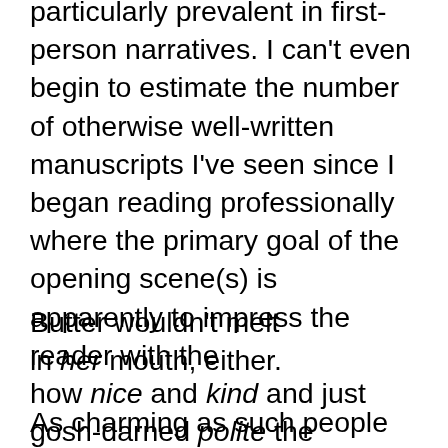particularly prevalent in first-person narratives. I can't even begin to estimate the number of otherwise well-written manuscripts I've seen since I began reading professionally where the primary goal of the opening scene(s) is apparently to impress the reader with the how nice and kind and just gosh-darned polite the protagonist is.
Butter wouldn't melt in her mouth, either.
As charming as such people may be when one encounters them in real life, from a professional reader's point of